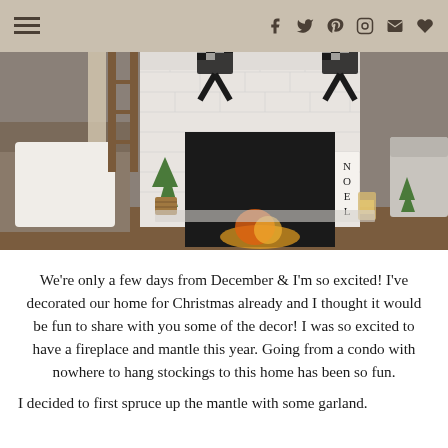≡ f 𝕏  Pinterest Instagram ✉ ♥
[Figure (photo): A living room fireplace decorated for Christmas with a white brick surround, black and white buffalo check bows on the mantle, a small decorated Christmas tree beside the fireplace, a NOEL sign, a wicker basket, a couch with white blanket on the left, and a white chair on the right.]
We're only a few days from December & I'm so excited! I've decorated our home for Christmas already and I thought it would be fun to share with you some of the decor! I was so excited to have a fireplace and mantle this year. Going from a condo with nowhere to hang stockings to this home has been so fun.
I decided to first spruce up the mantle with some garland.